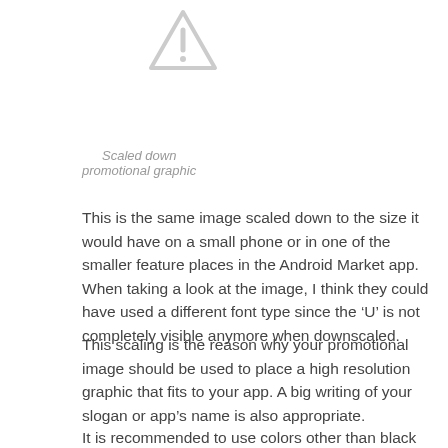[Figure (illustration): Warning/caution triangle icon with exclamation mark, light gray outline style]
Scaled down promotional graphic
This is the same image scaled down to the size it would have on a small phone or in one of the smaller feature places in the Android Market app. When taking a look at the image, I think they could have used a different font type since the ‘U’ is not completely visible anymore when downscaled.
This scaling is the reason why your promotional image should be used to place a high resolution graphic that fits to your app. A big writing of your slogan or app’s name is also appropriate.
It is recommended to use colors other than black or